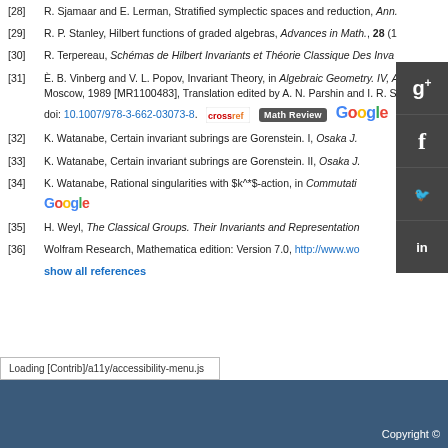[28] R. Sjamaar and E. Lerman, Stratified symplectic spaces and reduction, Ann...
[29] R. P. Stanley, Hilbert functions of graded algebras, Advances in Math., 28 (1...
[30] R. Terpereau, Schémas de Hilbert Invariants et Théorie Classique Des Inva...
[31] È. B. Vinberg and V. L. Popov, Invariant Theory, in Algebraic Geometry. IV, A... Moscow, 1989 [MR1100483], Translation edited by A. N. Parshin and I. R. S... doi: 10.1007/978-3-662-03073-8.
[32] K. Watanabe, Certain invariant subrings are Gorenstein. I, Osaka J...
[33] K. Watanabe, Certain invariant subrings are Gorenstein. II, Osaka J...
[34] K. Watanabe, Rational singularities with $k^*$-action, in Commutati...
[35] H. Weyl, The Classical Groups. Their Invariants and Representation...
[36] Wolfram Research, Mathematica edition: Version 7.0, http://www.wo...
show all references
Copyright ©